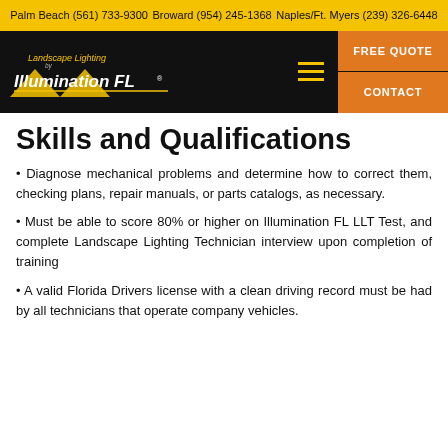Palm Beach (561) 733-9300 | Broward (954) 245-1368 | Naples/Ft. Myers (239) 326-6448
[Figure (logo): Landscape Lighting by Illumination FL logo with hamburger menu and FREE QUOTE / CONTACT buttons]
Skills and Qualifications
Diagnose mechanical problems and determine how to correct them, checking plans, repair manuals, or parts catalogs, as necessary.
Must be able to score 80% or higher on Illumination FL LLT Test, and complete Landscape Lighting Technician interview upon completion of training
A valid Florida Drivers license with a clean driving record must be had by all technicians that operate company vehicles.